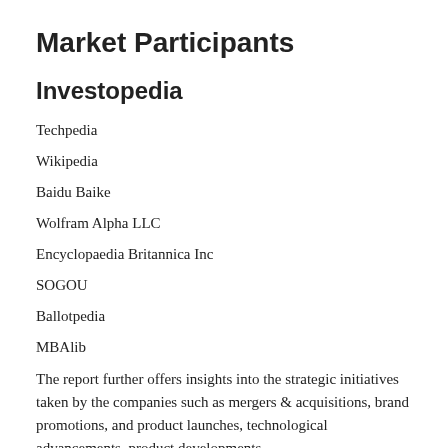Market Participants
Investopedia
Techpedia
Wikipedia
Baidu Baike
Wolfram Alpha LLC
Encyclopaedia Britannica Inc
SOGOU
Ballotpedia
MBAlib
The report further offers insights into the strategic initiatives taken by the companies such as mergers & acquisitions, brand promotions, and product launches, technological advancements, product developments,